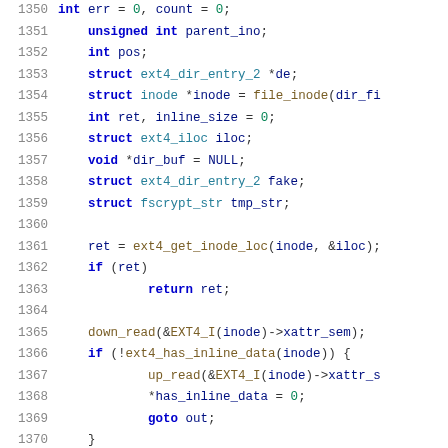Source code listing lines 1350-1371, C programming language, kernel code for ext4 filesystem inline data handling
1350    int err = 0, count = 0;
1351        unsigned int parent_ino;
1352        int pos;
1353        struct ext4_dir_entry_2 *de;
1354        struct inode *inode = file_inode(dir_fi
1355        int ret, inline_size = 0;
1356        struct ext4_iloc iloc;
1357        void *dir_buf = NULL;
1358        struct ext4_dir_entry_2 fake;
1359        struct fscrypt_str tmp_str;
1360
1361        ret = ext4_get_inode_loc(inode, &iloc);
1362        if (ret)
1363                return ret;
1364
1365        down_read(&EXT4_I(inode)->xattr_sem);
1366        if (!ext4_has_inline_data(inode)) {
1367                up_read(&EXT4_I(inode)->xattr_s
1368                *has_inline_data = 0;
1369                goto out;
1370        }
1371